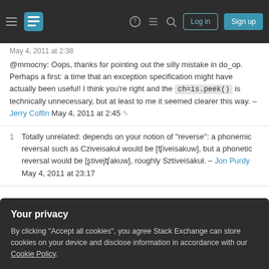Stack Exchange navigation header with Log in and Sign up buttons
May 4, 2011 at 2:38
@mmocny: Oops, thanks for pointing out the silly mistake in do_op. Perhaps a first: a time that an exception specification might have actually been useful! I think you're right and the ch=is.peek() is technically unnecessary, but at least to me it seemed clearer this way. – Jerry Coffin May 4, 2011 at 2:45
Totally unrelated: depends on your notion of "reverse": a phonemic reversal such as Cziveisakuł would be [ʧiveisakuw], but a phonetic reversal would be [ʂtivejʧakuw], roughly Sztiveiśakuł. – Jon Purdy May 4, 2011 at 23:17
Your privacy
By clicking "Accept all cookies", you agree Stack Exchange can store cookies on your device and disclose information in accordance with our Cookie Policy.
1. double get_variable(const string& op,